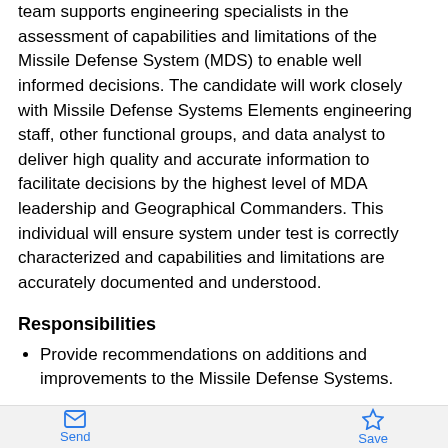team supports engineering specialists in the assessment of capabilities and limitations of the Missile Defense System (MDS) to enable well informed decisions. The candidate will work closely with Missile Defense Systems Elements engineering staff, other functional groups, and data analyst to deliver high quality and accurate information to facilitate decisions by the highest level of MDA leadership and Geographical Commanders. This individual will ensure system under test is correctly characterized and capabilities and limitations are accurately documented and understood.
Responsibilities
Provide recommendations on additions and improvements to the Missile Defense Systems.
Capabilities and limitations characterizations are the premier products from System Assessment.
Capabilities and limitations are the vehicles of educating and informing our customers.
At every assessment, decision, and/or declaration